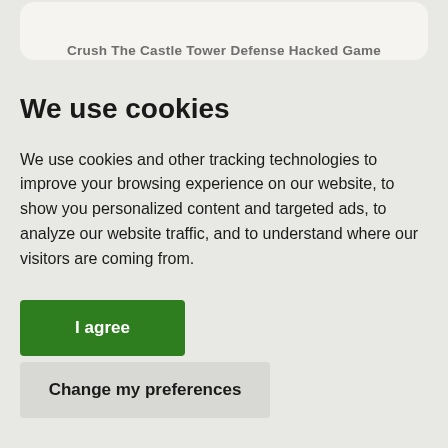Crush The Castle Tower Defense Hacked Game
We use cookies
We use cookies and other tracking technologies to improve your browsing experience on our website, to show you personalized content and targeted ads, to analyze our website traffic, and to understand where our visitors are coming from.
I agree
Change my preferences